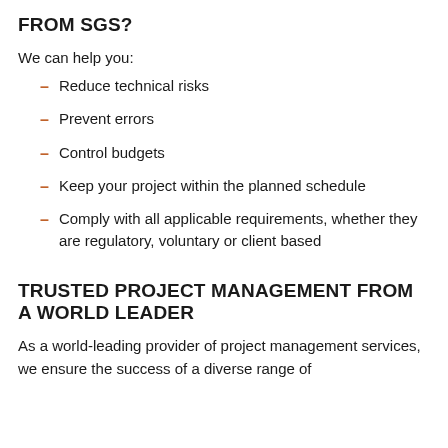FROM SGS?
We can help you:
Reduce technical risks
Prevent errors
Control budgets
Keep your project within the planned schedule
Comply with all applicable requirements, whether they are regulatory, voluntary or client based
TRUSTED PROJECT MANAGEMENT FROM A WORLD LEADER
As a world-leading provider of project management services, we ensure the success of a diverse range of